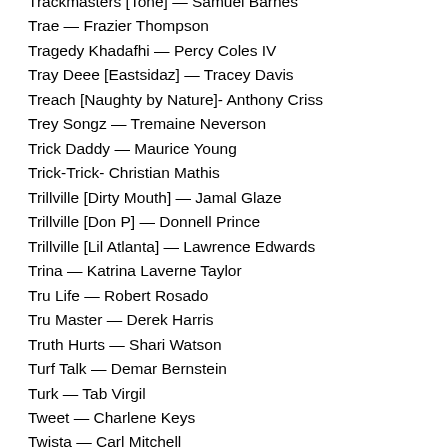Trackmasters [Tone] — Samuel Barnes
Trae — Frazier Thompson
Tragedy Khadafhi — Percy Coles IV
Tray Deee [Eastsidaz] — Tracey Davis
Treach [Naughty by Nature]- Anthony Criss
Trey Songz — Tremaine Neverson
Trick Daddy — Maurice Young
Trick-Trick- Christian Mathis
Trillville [Dirty Mouth] — Jamal Glaze
Trillville [Don P] — Donnell Prince
Trillville [Lil Atlanta] — Lawrence Edwards
Trina — Katrina Laverne Taylor
Tru Life — Robert Rosado
Tru Master — Derek Harris
Truth Hurts — Shari Watson
Turf Talk — Demar Bernstein
Turk — Tab Virgil
Tweet — Charlene Keys
Twista — Carl Mitchell
Two Five (50 Cent's cousin) — Michael Francis